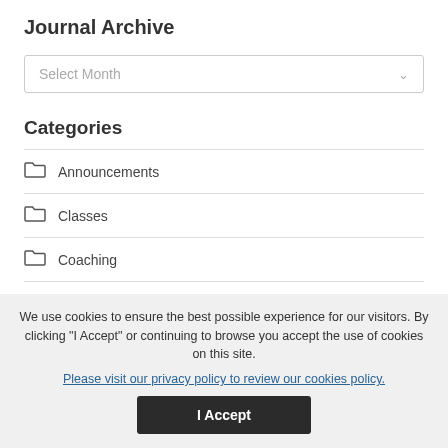Journal Archive
[Figure (screenshot): Dropdown select box with placeholder text 'Select Month' and a chevron icon on the right]
Categories
Announcements
Classes
Coaching
Guided Meditation
We use cookies to ensure the best possible experience for our visitors. By clicking "I Accept" or continuing to browse you accept the use of cookies on this site.
Please visit our privacy policy to review our cookies policy.
I Accept